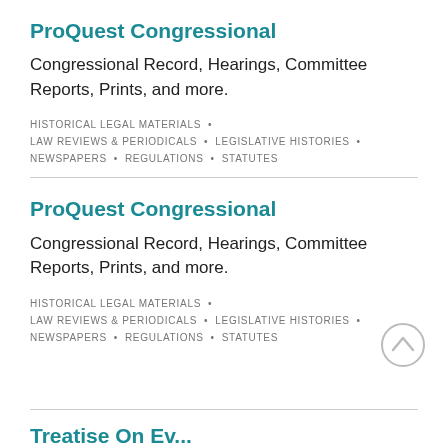ProQuest Congressional
Congressional Record, Hearings, Committee Reports, Prints, and more.
HISTORICAL LEGAL MATERIALS • LAW REVIEWS & PERIODICALS • LEGISLATIVE HISTORIES • NEWSPAPERS • REGULATIONS • STATUTES
ProQuest Congressional
Congressional Record, Hearings, Committee Reports, Prints, and more.
HISTORICAL LEGAL MATERIALS • LAW REVIEWS & PERIODICALS • LEGISLATIVE HISTORIES • NEWSPAPERS • REGULATIONS • STATUTES
Treatise On Ev...